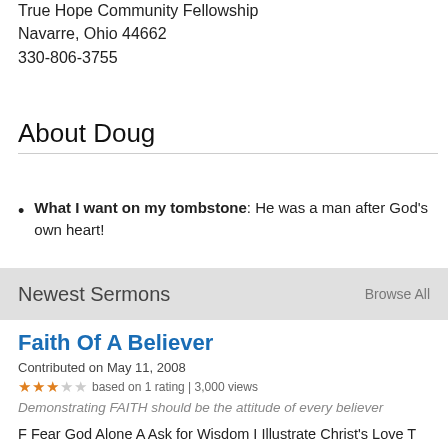True Hope Community Fellowship
Navarre, Ohio 44662
330-806-3755
About Doug
What I want on my tombstone: He was a man after God's own heart!
Newest Sermons    Browse All
Faith Of A Believer
Contributed on May 11, 2008
based on 1 rating | 3,000 views
Demonstrating FAITH should be the attitude of every believer
F Fear God Alone A Ask for Wisdom I Illustrate Christ's Love T Tell Others about Christ H Hold Fast to Scripture Fear God Alone-The last and final word is this: Fear God. Do what he tells you. And that's it. Eventually God will bring everything that we do out into the open and judge it ...read more